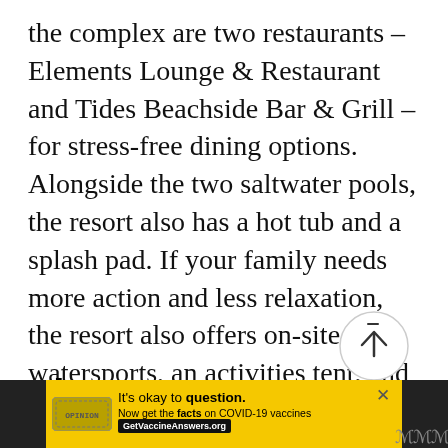the complex are two restaurants – Elements Lounge & Restaurant and Tides Beachside Bar & Grill – for stress-free dining options. Alongside the two saltwater pools, the resort also has a hot tub and a splash pad. If your family needs more action and less relaxation, the resort also offers on-site watersports, an activities tent, and an exercise trail.
Tips: Rent a Car For Day Trips
[Figure (other): Circular scroll-to-top button with upward arrow icon]